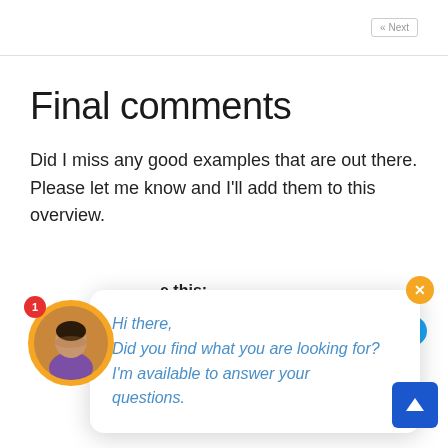Next
Final comments
Did I miss any good examples that are out there. Please let me know and I’ll add them to this overview.
[Figure (screenshot): Chat widget popup with message: Hi there, Did you find what you are looking for? I'm available to answer your questions. Has orange X close button and orange avatar with red notification badge.]
e this:
[Figure (screenshot): Social share buttons: Share 0 (Facebook), Share (LinkedIn), Tweet (Twitter), WhatsApp, Email]